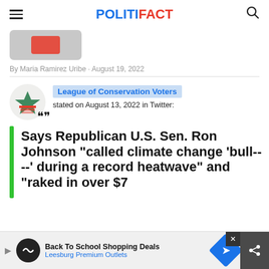POLITIFACT
By Maria Ramirez Uribe · August 19, 2022
League of Conservation Voters stated on August 13, 2022 in Twitter:
Says Republican U.S. Sen. Ron Johnson “called climate change ‘bull----’ during a record heatwave” and “raked in over $750k from oil and gas”
[Figure (other): Advertisement bar: Back To School Shopping Deals - Leesburg Premium Outlets]